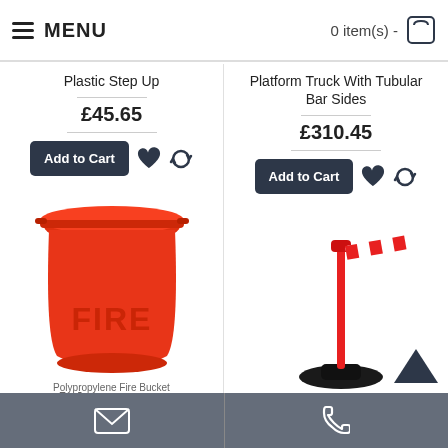MENU   0 item(s) -
Plastic Step Up
£45.65
Add to Cart
Platform Truck With Tubular Bar Sides
£310.45
Add to Cart
[Figure (photo): Red plastic fire bucket with 'FIRE' text embossed on the front]
[Figure (photo): Red retractable belt barrier post on black base with red and white striped belt extended]
email icon   phone icon